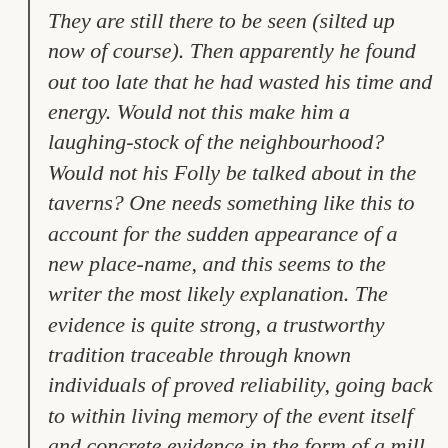They are still there to be seen (silted up now of course). Then apparently he found out too late that he had wasted his time and energy. Would not this make him a laughing-stock of the neighbourhood? Would not his Folly be talked about in the taverns? One needs something like this to account for the sudden appearance of a new place-name, and this seems to the writer the most likely explanation. The evidence is quite strong, a trustworthy tradition traceable through known individuals of proved reliability, going back to within living memory of the event itself and concrete evidence in the form of a mill